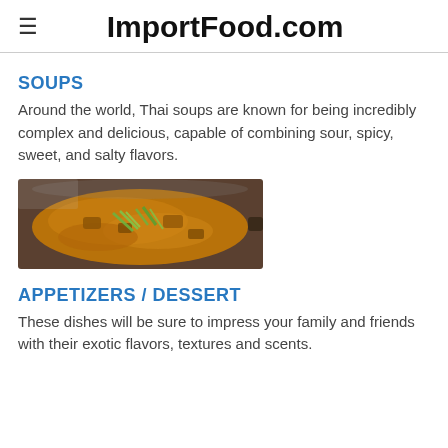ImportFood.com
SOUPS
Around the world, Thai soups are known for being incredibly complex and delicious, capable of combining sour, spicy, sweet, and salty flavors.
[Figure (photo): A dark wok/pan containing an orange-brown Thai soup with green onion toppings, seen from above on a stovetop.]
APPETIZERS / DESSERT
These dishes will be sure to impress your family and friends with their exotic flavors, textures and scents.